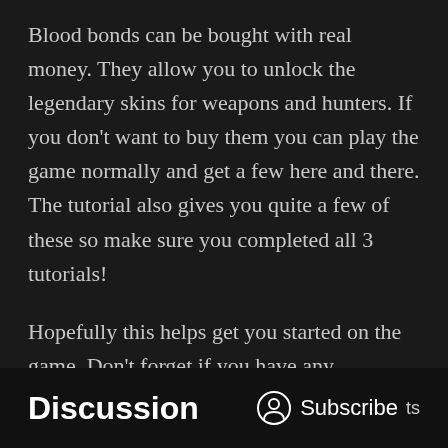Blood bonds can be bought with real money. They allow you to unlock the legendary skins for weapons and hunters. If you don't want to buy them you can play the game normally and get a few here and there. The tutorial also gives you quite a few of these so make sure you completed all 3 tutorials!
Hopefully this helps get you started on the game. Don't forget if you have any questions feel free to reach out to me on twitter. I'll gladly try and answer any additional questions I can. Don't get discouraged if you have a rough start. The game takes a bit of getting use to.
Discussion